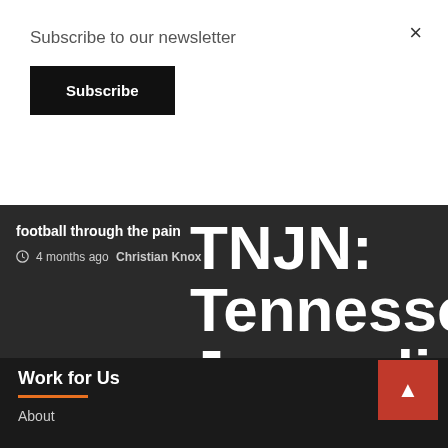Subscribe to our newsletter
Subscribe
×
football through the pain
4 months ago  Christian Knox
TNJN: Tennessee Journalist
Work for Us
About